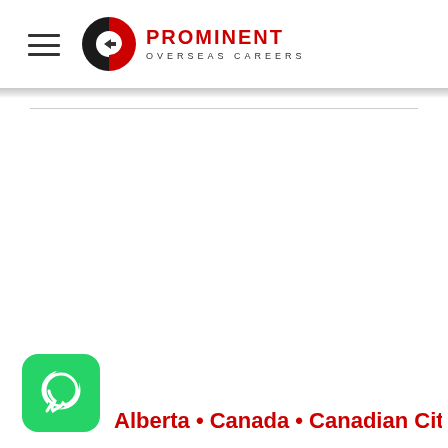Prominent Overseas Careers
[Figure (logo): Prominent Overseas Careers logo with circular P icon in red and black, followed by text PROMINENT OVERSEAS CAREERS]
[Figure (logo): WhatsApp icon - green rounded square with white phone/chat icon]
Alberta • Canada • Canadian Citizenship